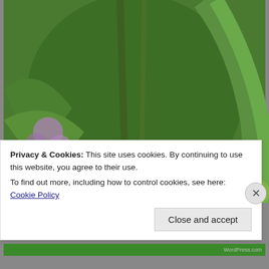[Figure (photo): A monarch butterfly with orange, black, and white wings resting on white wildflowers among green foliage and purple flowers in a garden setting.]
Privacy & Cookies: This site uses cookies. By continuing to use this website, you agree to their use.
To find out more, including how to control cookies, see here: Cookie Policy
Close and accept